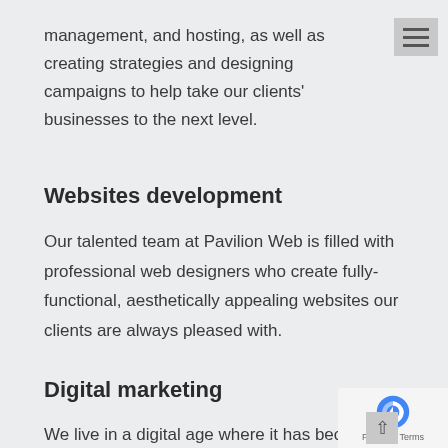management, and hosting, as well as creating strategies and designing campaigns to help take our clients' businesses to the next level.
Websites development
Our talented team at Pavilion Web is filled with professional web designers who create fully-functional, aesthetically appealing websites our clients are always pleased with.
Digital marketing
We live in a digital age where it has become imperative that businesses embrace digital